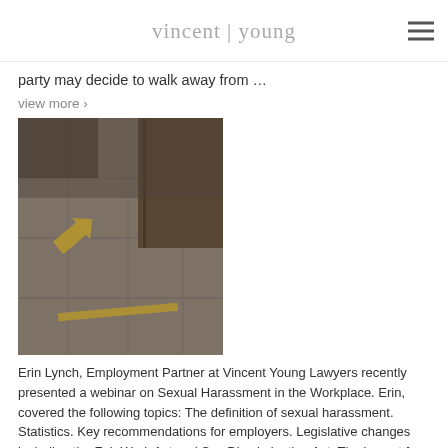vincent | young
party may decide to walk away from …
view more ›
[Figure (photo): Photo showing floor tiles with yellow painted arrows indicating direction, near a wooden wall or door]
Erin Lynch, Employment Partner at Vincent Young Lawyers recently presented a webinar on Sexual Harassment in the Workplace. Erin, covered the following topics: The definition of sexual harassment. Statistics. Key recommendations for employers. Legislative changes including the Fair Work Act and Sex Discrimination Act. The impact for employers and the workplace. Download the slides here: …